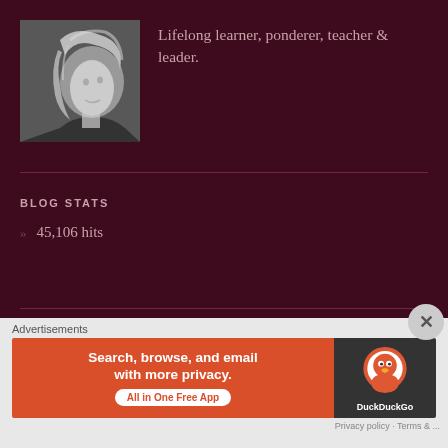[Figure (photo): Black and white profile photo of a woman with windswept hair, looking sideways]
Lifelong learner, ponderer, teacher & leader.
BLOG STATS
» 45,106 hits
FOLLOW BLOG VIA EMAIL
Advertisements
[Figure (screenshot): DuckDuckGo advertisement banner: Search, browse, and email with more privacy. All in One Free App]